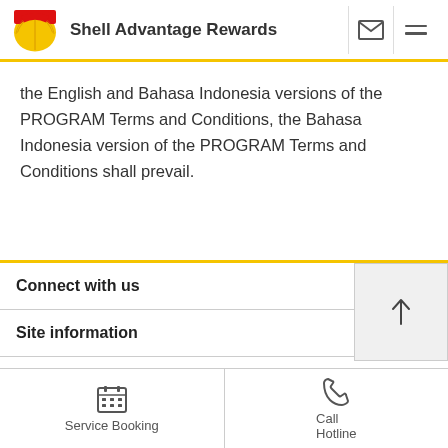Shell Advantage Rewards
the English and Bahasa Indonesia versions of the PROGRAM Terms and Conditions, the Bahasa Indonesia version of the PROGRAM Terms and Conditions shall prevail.
Connect with us
Site information
Service Booking
Call Hotline